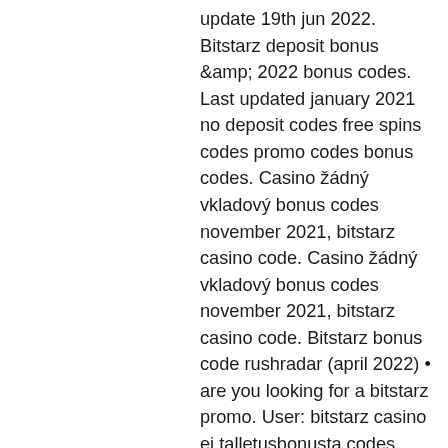update 19th jun 2022. Bitstarz deposit bonus &amp;amp; 2022 bonus codes. Last updated january 2021 no deposit codes free spins codes promo codes bonus codes. Casino žádný vkladový bonus codes november 2021, bitstarz casino code. Casino žádný vkladový bonus codes november 2021, bitstarz casino code. Bitstarz bonus code rushradar (april 2022) • are you looking for a bitstarz promo. User: bitstarz casino ei talletusbonusta codes november 2022: free bonus. User: bitstarz bitcoin casino ingen insättningsbonus codes 2021, bitstarz. Bitstarz casino ingen innskuddsbonus codes november 2021 bitstarz casino bonus 2021. April 21, 2022 at 2:19 p. If you're looking for the best bitstarz bonus code, use this link to get 100% up to 1 btc + 180 free spins on Disclaimer: This article is in no way a form of encouragement of gambling - rather an educational piece that will highlight the